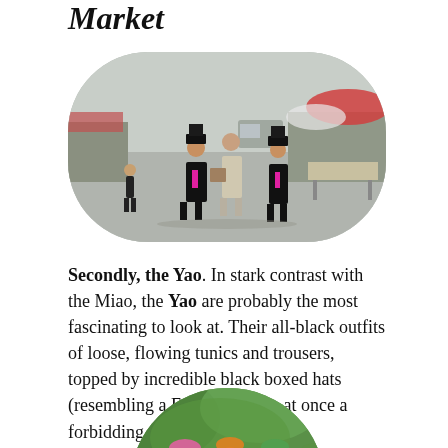Market
[Figure (photo): People in traditional ethnic minority costumes walking at an outdoor market street]
Secondly, the Yao. In stark contrast with the Miao, the Yao are probably the most fascinating to look at. Their all-black outfits of loose, flowing tunics and trousers, topped by incredible black boxed hats (resembling a Fez) lend them at once a forbidding and mysterious aspect.
[Figure (photo): People in colorful traditional clothing at an outdoor gathering, partially visible at bottom of page]